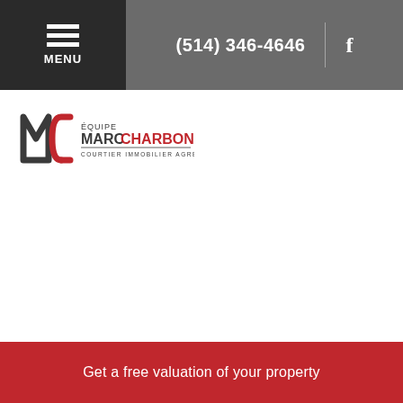MENU | (514) 346-4646 | f
[Figure (logo): Équipe Marc Charbonneau logo — stylized MC mark in dark grey and red with text: ÉQUIPE MARC CHARBONNEAU, COURTIER IMMOBILIER AGRÉÉ]
Get a free valuation of your property